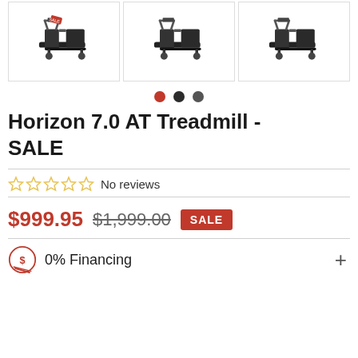[Figure (photo): Three product thumbnail images of treadmills in a row. First has a cupcake emoji and sale tag overlay, second has a cupcake emoji overlay, third shows treadmill without overlays.]
[Figure (other): Three navigation dots: first is red (active), second and third are dark gray.]
Horizon 7.0 AT Treadmill - SALE
[Figure (other): 5 empty star rating icons followed by 'No reviews' text]
$999.95  $1,999.00  SALE
0% Financing